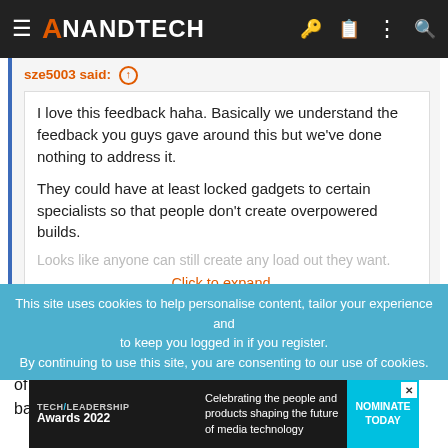AnandTech
sze5003 said: ↑
I love this feedback haha. Basically we understand the feedback you guys gave around this but we've done nothing to address it.

They could have at least locked gadgets to certain specialists so that people don't create overpowered builds.
Looks like anyone can still create any load out they want.
Click to expand...
I'm not too concerned right now. Really comes down to if there is a way to counter a load out or not. Only after hours of gameplay with everything in it will reveal if it throws the balance of the game out of
This site uses cookies to help personalise content, tailor your experience and to keep you logged in if you register.
By continuing to use this site, you are consenting to our use of cookies.
[Figure (infographic): TechLeadership Awards 2022 advertisement banner: Celebrating the people and products shaping the future of media technology. Nominate Today button.]